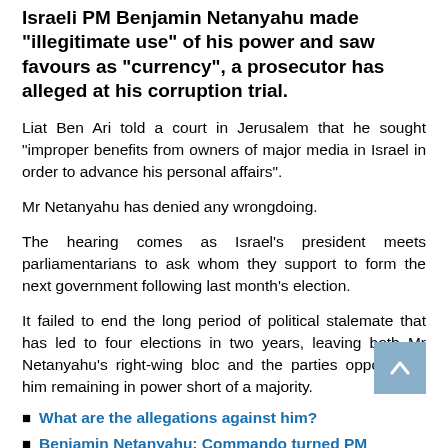Israeli PM Benjamin Netanyahu made "illegitimate use" of his power and saw favours as "currency", a prosecutor has alleged at his corruption trial.
Liat Ben Ari told a court in Jerusalem that he sought "improper benefits from owners of major media in Israel in order to advance his personal affairs".
Mr Netanyahu has denied any wrongdoing.
The hearing comes as Israel's president meets parliamentarians to ask whom they support to form the next government following last month's election.
It failed to end the long period of political stalemate that has led to four elections in two years, leaving both Mr Netanyahu's right-wing bloc and the parties opposed to him remaining in power short of a majority.
What are the allegations against him?
Benjamin Netanyahu: Commando turned PM